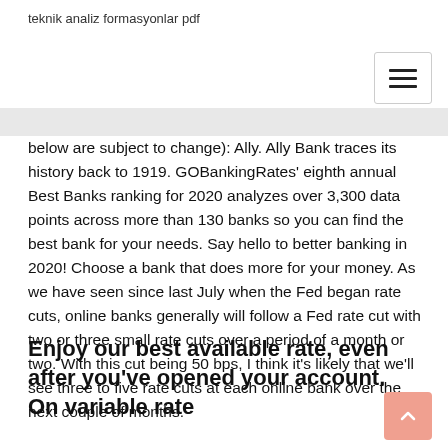teknik analiz formasyonlar pdf
below are subject to change): Ally. Ally Bank traces its history back to 1919. GOBankingRates' eighth annual Best Banks ranking for 2020 analyzes over 3,300 data points across more than 130 banks so you can find the best bank for your needs. Say hello to better banking in 2020! Choose a bank that does more for your money. As we have seen since last July when the Fed began rate cuts, online banks generally will follow a Fed rate cut with two or three small rate cuts over a period of a month or two. With this cut being 50 bps, I think it's likely that we'll see three to five rate cuts at each online bank over the next couple of months.
Enjoy our best available rate, even after you've opened your account. On variable rate